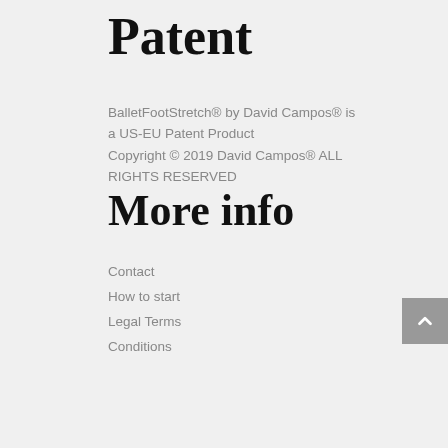Patent
BalletFootStretch® by David Campos® is a US-EU Patent Product
Copyright © 2019 David Campos® ALL RIGHTS RESERVED
More info
Contact
How to start
Legal Terms
Conditions